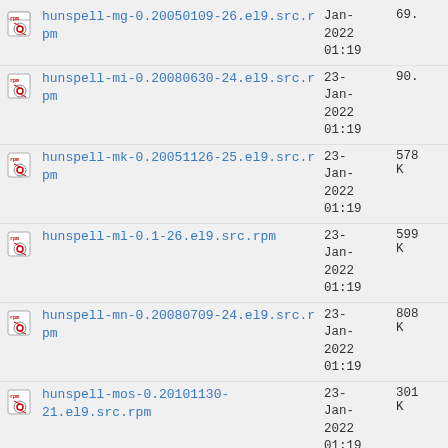hunspell-mg-0.20050109-26.el9.src.rpm  23-Jan-2022 01:19  69.
hunspell-mi-0.20080630-24.el9.src.rpm  23-Jan-2022 01:19  90.
hunspell-mk-0.20051126-25.el9.src.rpm  23-Jan-2022 01:19  578 K
hunspell-ml-0.1-26.el9.src.rpm  23-Jan-2022 01:19  599 K
hunspell-mn-0.20080709-24.el9.src.rpm  23-Jan-2022 01:19  808 K
hunspell-mos-0.20101130-21.el9.src.rpm  23-Jan-2022 01:19  301 K
hunspell-mr-1.0.0-17.el9.src.rpm  23-Jan-2022 01:19  67.
hunspell-ms-0.20050117-25.el9.src.rpm  23-Jan-2022 01:19  95.